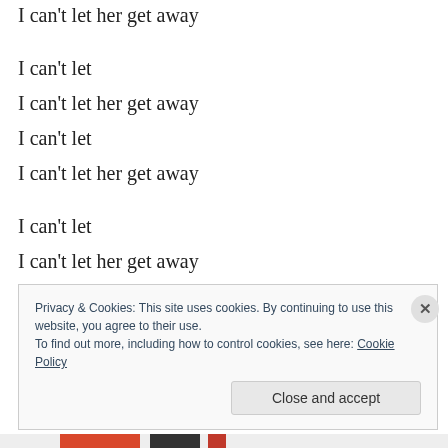I can't let
I can't let her get away
I can't let
I can't let her get away
I can't let
I can't let her get away
I can't let
I can't let her get away
I can't let
I can't let her get away
Privacy & Cookies: This site uses cookies. By continuing to use this website, you agree to their use.
To find out more, including how to control cookies, see here: Cookie Policy
Close and accept